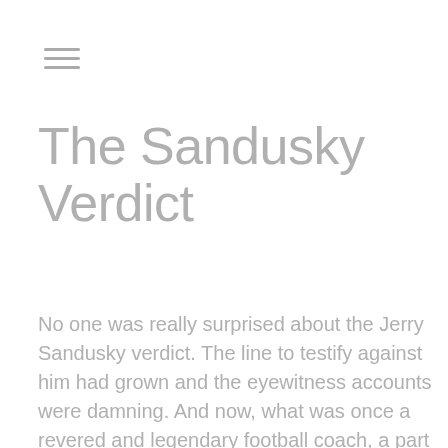≡
The Sandusky Verdict
No one was really surprised about the Jerry Sandusky verdict. The line to testify against him had grown and the eyewitness accounts were damning. And now, what was once a revered and legendary football coach, a part of college sports royalty, will die in prison. His contribution to Penn State's win/loss record will be wiped clean and another record replaces them.
The countless victims—public and private—can now have a